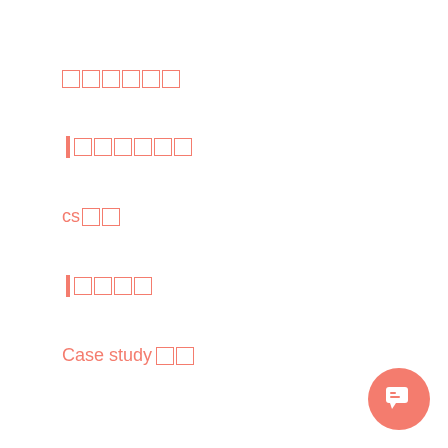□□□□□□
□□□□□□
cs□□
□□□□
Case study□□
[Figure (other): Coral/salmon colored circular chat button with speech bubble icon in bottom right corner]